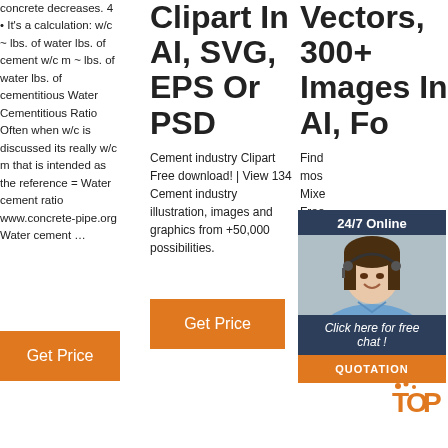concrete decreases. 4 • It's a calculation: w/c ~ lbs. of water lbs. of cement w/c m ~ lbs. of water lbs. of cementitious Water Cementitious Ratio Often when w/c is discussed its really w/c m that is intended as the reference = Water cement ratio www.concrete-pipe.org Water cement …
[Figure (other): Orange Get Price button, column 1]
Clipart In AI, SVG, EPS Or PSD
Cement industry Clipart Free download! | View 134 Cement industry illustration, images and graphics from +50,000 possibilities.
[Figure (other): Orange Get Price button, column 2]
Vectors, 300+ Images In AI, Fo
Find most Mixed Free com Qua for Creative Projects
[Figure (other): Chat widget overlay with 24/7 Online header, customer service photo, Click here for free chat! text, and QUOTATION button]
[Figure (other): TOP logo watermark bottom right]
[Figure (other): Orange Get Price button, column 3]